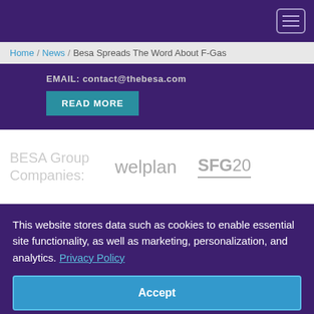Navigation bar with hamburger menu
Home / News / Besa Spreads The Word About F-Gas
EMAIL: contact@thebesa.com
READ MORE
[Figure (logo): BESA Group Companies: welplan, SFG20 logos]
This website stores data such as cookies to enable essential site functionality, as well as marketing, personalization, and analytics. Privacy Policy
Accept
Deny